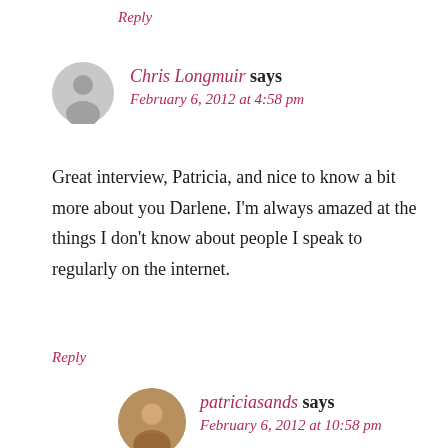Reply
Chris Longmuir says
February 6, 2012 at 4:58 pm
Great interview, Patricia, and nice to know a bit more about you Darlene. I'm always amazed at the things I don't know about people I speak to regularly on the internet.
Reply
patriciasands says
February 6, 2012 at 10:58 pm